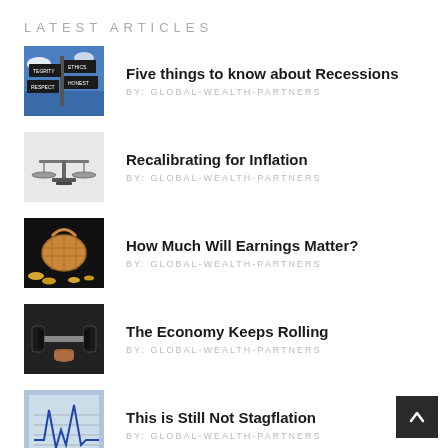LATEST ARTICLES
Five things to know about Recessions | BY: GLOBAL-WEALTH-PARTNERS
Recalibrating for Inflation | BY: GLOBAL-WEALTH-PARTNERS
How Much Will Earnings Matter? | BY: GLOBAL-WEALTH-PARTNERS
The Economy Keeps Rolling | BY: GLOBAL-WEALTH-PARTNERS
This is Still Not Stagflation | BY: GLOBAL-WEALTH-PARTNERS